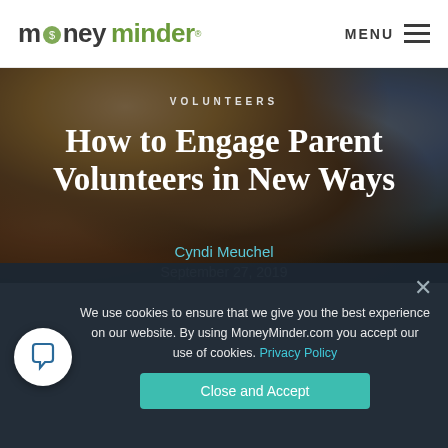money minder™  MENU
[Figure (photo): Photo of a child/person with blond hair seen from behind, wearing a red hoodie, looking at something out of frame, with a blurred background]
VOLUNTEERS
How to Engage Parent Volunteers in New Ways
Cyndi Meuchel
September 27, 2019
We use cookies to ensure that we give you the best experience on our website. By using MoneyMinder.com you accept our use of cookies. Privacy Policy
Close and Accept